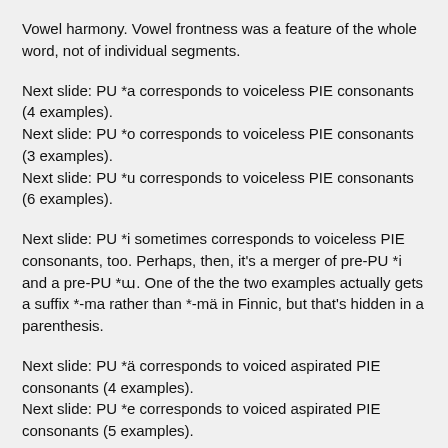Vowel harmony. Vowel frontness was a feature of the whole word, not of individual segments.
Next slide: PU *a corresponds to voiceless PIE consonants (4 examples).
Next slide: PU *o corresponds to voiceless PIE consonants (3 examples).
Next slide: PU *u corresponds to voiceless PIE consonants (6 examples).
Next slide: PU *i sometimes corresponds to voiceless PIE consonants, too. Perhaps, then, it's a merger of pre-PU *i and a pre-PU *ɯ. One of the the two examples actually gets a suffix *-ma rather than *-mä in Finnic, but that's hidden in a parenthesis.
Next slide: PU *ä corresponds to voiced aspirated PIE consonants (4 examples).
Next slide: PU *e corresponds to voiced aspirated PIE consonants (5 examples).